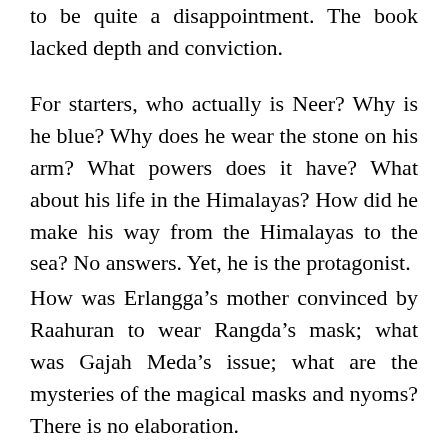to be quite a disappointment. The book lacked depth and conviction.
For starters, who actually is Neer? Why is he blue? Why does he wear the stone on his arm? What powers does it have? What about his life in the Himalayas? How did he make his way from the Himalayas to the sea? No answers. Yet, he is the protagonist.
How was Erlangga’s mother convinced by Raahuran to wear Rangda’s mask; what was Gajah Meda’s issue; what are the mysteries of the magical masks and nyoms? There is no elaboration.